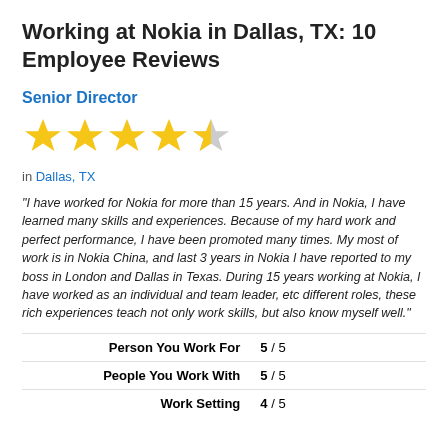Working at Nokia in Dallas, TX: 10 Employee Reviews
Senior Director
[Figure (other): 4.5 out of 5 stars rating: four full gold stars and one half-filled gray star]
in Dallas, TX
"I have worked for Nokia for more than 15 years. And in Nokia, I have learned many skills and experiences. Because of my hard work and perfect performance, I have been promoted many times. My most of work is in Nokia China, and last 3 years in Nokia I have reported to my boss in London and Dallas in Texas. During 15 years working at Nokia, I have worked as an individual and team leader, etc different roles, these rich experiences teach not only work skills, but also know myself well."
| Category | Score |
| --- | --- |
| Person You Work For | 5 / 5 |
| People You Work With | 5 / 5 |
| Work Setting | 4 / 5 |